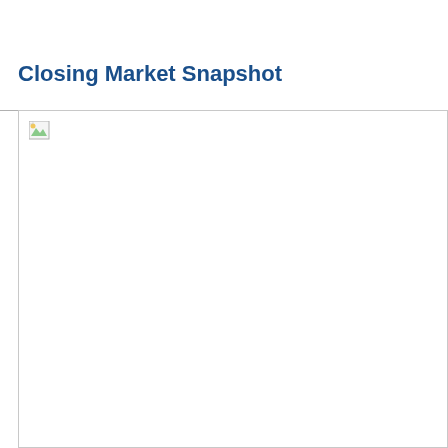Closing Market Snapshot
[Figure (other): Closing Market Snapshot image (broken/unavailable image placeholder shown)]